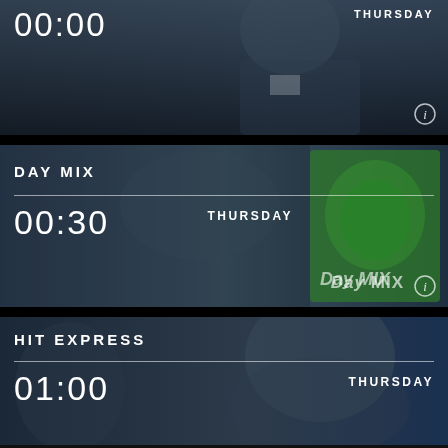[Figure (screenshot): TV schedule card 1: dark background with a man in suit, time 00:00, THURSDAY]
[Figure (screenshot): TV schedule card 2: DAY MIX show, woman underwater with green album art, time 00:30, THURSDAY, Day MIX logo]
[Figure (screenshot): TV schedule card 3: HIT EXPRESS show, man's face, time 01:00, THURSDAY]
[Figure (screenshot): Black bottom bar with play triangle icon]